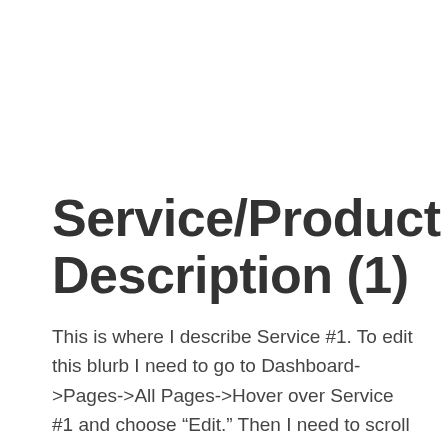Service/Product Description (1)
This is where I describe Service #1. To edit this blurb I need to go to Dashboard->Pages->All Pages->Hover over Service #1 and choose “Edit.” Then I need to scroll down and find the grey box called “Service Description (1)” and click on the 3 lines at the top to open the Edit